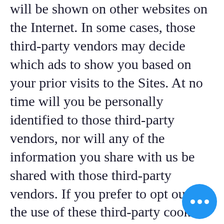will be shown on other websites on the Internet. In some cases, those third-party vendors may decide which ads to show you based on your prior visits to the Sites. At no time will you be personally identified to those third-party vendors, nor will any of the information you share with us be shared with those third-party vendors. If you prefer to opt out of the use of these third-party cookies on the Sites, you can do so by visiting the Network Advertising opt out page: www.networkadvertising.org.
We may also use third-party services such as Google Analytics. This helps us understand traffic patterns and know if there are